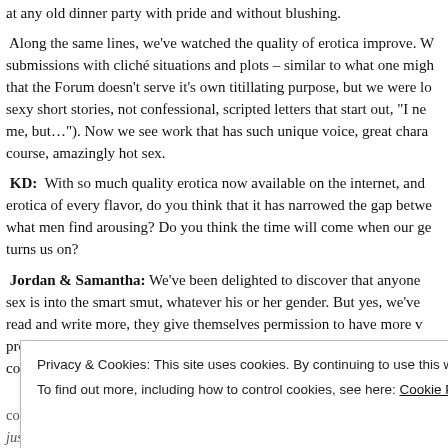at any old dinner party with pride and without blushing.
Along the same lines, we've watched the quality of erotica improve. W submissions with cliché situations and plots – similar to what one migh that the Forum doesn't serve it's own titillating purpose, but we were lo sexy short stories, not confessional, scripted letters that start out, "I ne me, but…"). Now we see work that has such unique voice, great chara course, amazingly hot sex.
KD: With so much quality erotica now available on the internet, and erotica of every flavor, do you think that it has narrowed the gap betwe what men find arousing? Do you think the time will come when our ge turns us on?
Jordan & Samantha: We've been delighted to discover that anyone sex is into the smart smut, whatever his or her gender. But yes, we've read and write more, they give themselves permission to have more v progression that as they imagine different scenarios and experiences, common sexual ground. For example, a woman may grow up thinking
come when we are no longer taught that what is sexy is linked to our g just experience what turns us on.